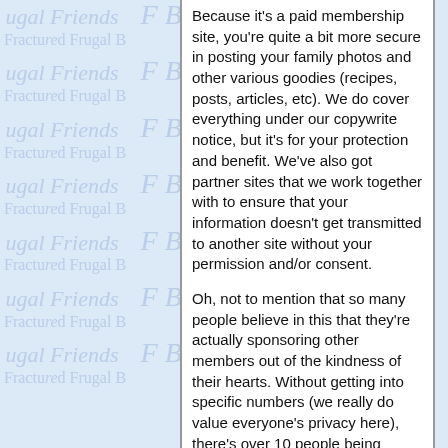Because it's a paid membership site, you're quite a bit more secure in posting your family photos and other various goodies (recipes, posts, articles, etc). We do cover everything under our copywrite notice, but it's for your protection and benefit. We've also got partner sites that we work together with to ensure that your information doesn't get transmitted to another site without your permission and/or consent.
Oh, not to mention that so many people believe in this that they're actually sponsoring other members out of the kindness of their hearts. Without getting into specific numbers (we really do value everyone's privacy here), there's over 10 people being sponsored by other members. Oh, and did I mention the friendships that you make here will last a lifetime? You cannot put a price on friendship.